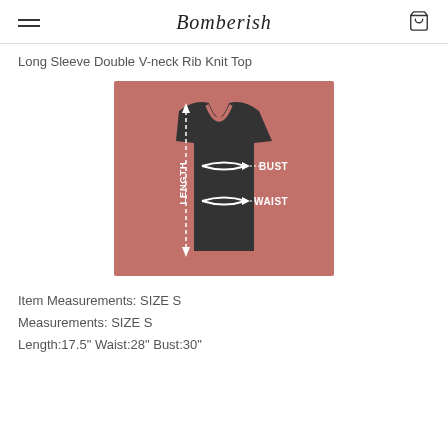Bomberish
Long Sleeve Double V-neck Rib Knit Top
[Figure (illustration): Sizing diagram showing a dark shirt silhouette on a rose/mauve background. Arrows indicate LENGTH (vertical dashed line from top to bottom of shirt), BUST (horizontal arrow around chest area), and WAIST (horizontal arrow around waist area). Labels BUST and WAIST appear to the right side.]
Item Measurements: SIZE S
Measurements: SIZE S
Length:17.5" Waist:28" Bust:30"